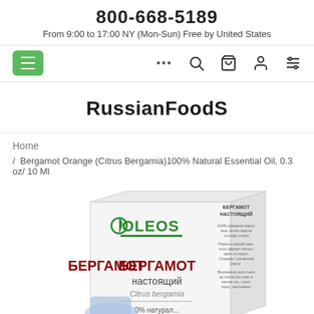800-668-5189
From 9:00 to 17:00 NY (Mon-Sun) Free by United States
[Figure (screenshot): Navigation bar with green hamburger menu button, ellipsis, search, cart, user, and filter icons]
RussianFoodS
Home
/ Bergamot Orange (Citrus Bergamia)100% Natural Essential Oil, 0.3 oz/ 10 Ml
[Figure (photo): Product photo of OLEOS БЕРГАМОТ настоящий (Bergamot) Citrus bergamia essential oil box]